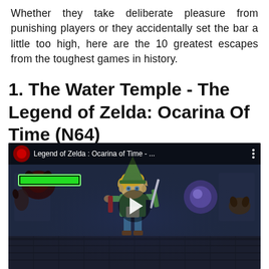Whether they take deliberate pleasure from punishing players or they accidentally set the bar a little too high, here are the 10 greatest escapes from the toughest games in history.
1. The Water Temple - The Legend of Zelda: Ocarina Of Time (N64)
[Figure (screenshot): YouTube video thumbnail/player showing Link in the Water Temple from The Legend of Zelda: Ocarina of Time (N64). The video bar at top shows a channel icon and title 'Legend of Zelda : Ocarina of Time - ...' with vertical dots menu. A green health bar is visible top left. A play button overlay is centered on the image.]